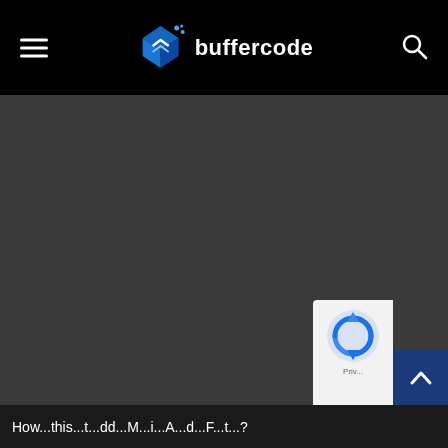buffercode
[Figure (screenshot): Dark gray empty content area below the header navigation bar]
[Figure (other): reCAPTCHA widget overlay in bottom-right corner with spinning arrow icon and 'Priv...' text]
[Figure (other): Dark blue scroll-to-top button with upward chevron arrow]
How...this...t...dd...M...i...A...d...F...t...?